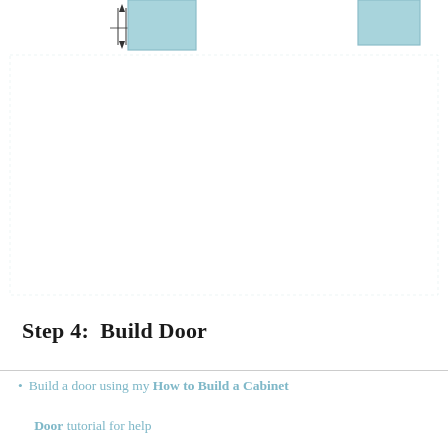[Figure (engineering-diagram): Partial view of a cabinet construction diagram showing two teal/blue rectangular cabinet panels or components at the top of the page. The left component has dimension arrows indicating measurements. The right component appears as a smaller rectangle at the upper right.]
Step 4:  Build Door
Build a door using my How to Build a Cabinet Door tutorial for help